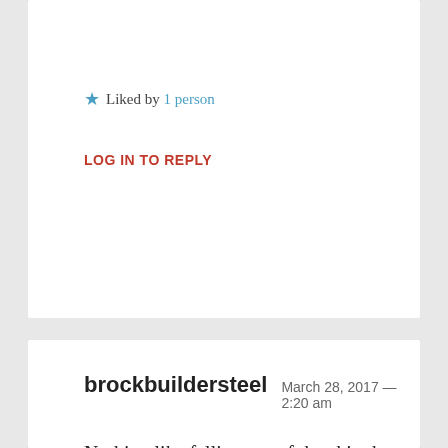★ Liked by 1 person
LOG IN TO REPLY
brockbuildersteel  March 28, 2017 — 2:20 am
Nothing like falling out of the ski tube and physically crashing, and tumbling on and on upon the (Hard like concrete) surface of the water because the 'Speed boat was going at an excessive speed, it took forever for my body to stop tumbling upon the suffice and finally sink